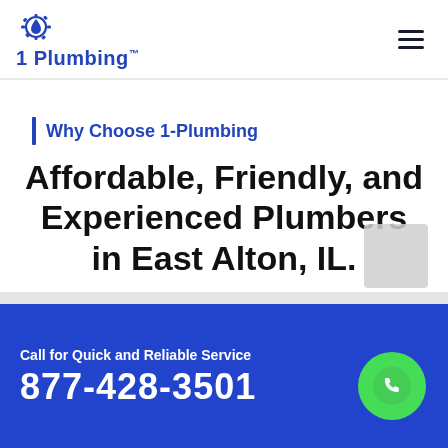1 Plumbing
Why Choose 1-Plumbing
Affordable, Friendly, and Experienced Plumbers in East Alton, IL.
Call for Quick and Reliable Service
877-428-3501